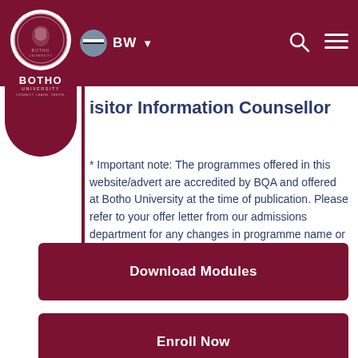Botho University navigation header with logo, BW country selector, search and menu icons
isitor Information Counsellor
* Important note: The programmes offered in this website/advert are accredited by BQA and offered at Botho University at the time of publication. Please refer to your offer letter from our admissions department for any changes in programme name or duration that may be effected due to regulatory requirements.
Download Modules
Enroll Now